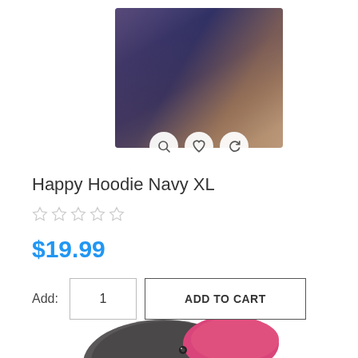[Figure (photo): Product photo of Happy Hoodie Navy XL dog item with search, heart, and refresh icons overlaid at bottom]
Happy Hoodie Navy XL
[Figure (other): Five empty star rating icons (no rating)]
$19.99
Add: 1  ADD TO CART
[Figure (photo): Dog wearing a pink Happy Hoodie, dark grey dog, bottom portion visible]